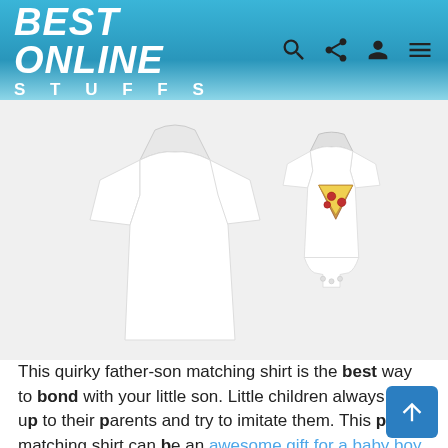BEST ONLINE STUFFS
[Figure (photo): A white adult t-shirt and a white baby onesie with a pizza slice graphic on it, shown side by side on a white background.]
This quirky father-son matching shirt is the best way to bond with your little son. Little children always look up to their parents and try to imitate them. This pizza matching shirt can be an awesome gift for a baby boy or a girl. Celebrate the joy of having a child by having those amazing